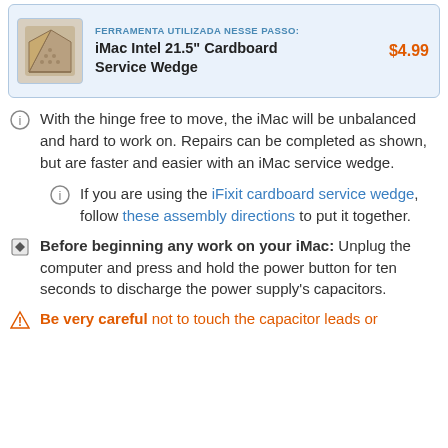[Figure (photo): Product image thumbnail of iMac Intel 21.5 inch Cardboard Service Wedge]
FERRAMENTA UTILIZADA NESSE PASSO: iMac Intel 21.5" Cardboard Service Wedge $4.99
With the hinge free to move, the iMac will be unbalanced and hard to work on. Repairs can be completed as shown, but are faster and easier with an iMac service wedge.
If you are using the iFixit cardboard service wedge, follow these assembly directions to put it together.
Before beginning any work on your iMac: Unplug the computer and press and hold the power button for ten seconds to discharge the power supply's capacitors.
Be very careful not to touch the capacitor leads or